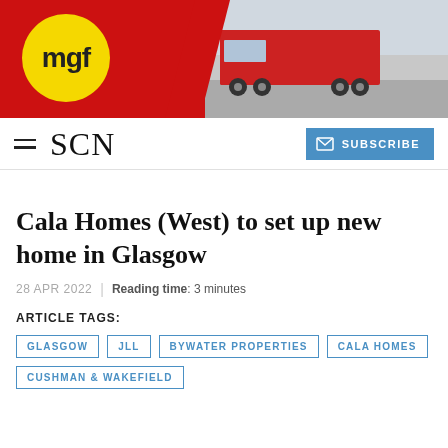[Figure (logo): MGF logo banner — red background with yellow circle MGF logo on left and red truck photo on right]
SCN | SUBSCRIBE
Cala Homes (West) to set up new home in Glasgow
28 APR 2022 | Reading time: 3 minutes
ARTICLE TAGS:
GLASGOW
JLL
BYWATER PROPERTIES
CALA HOMES
CUSHMAN & WAKEFIELD